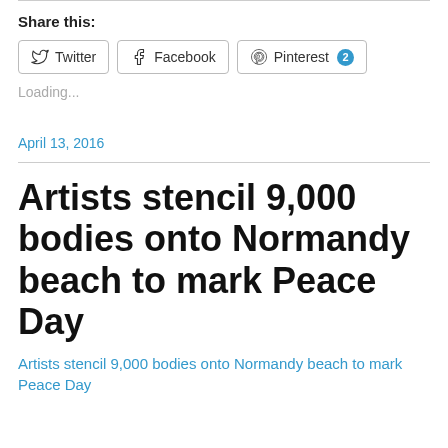Share this:
Twitter  Facebook  Pinterest 2
Loading...
April 13, 2016
Artists stencil 9,000 bodies onto Normandy beach to mark Peace Day
Artists stencil 9,000 bodies onto Normandy beach to mark Peace Day